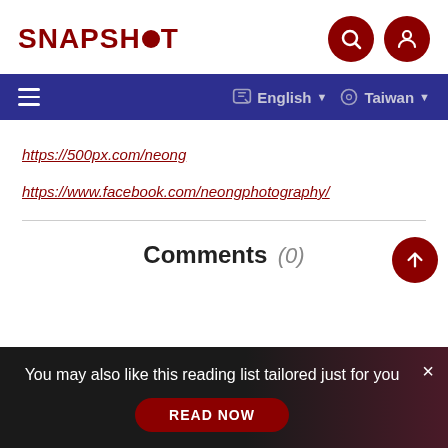SNAPSHOT
English Taiwan (navigation bar)
https://500px.com/neong
https://www.facebook.com/neongphotography/
Comments (0)
You may also like this reading list tailored just for you
READ NOW